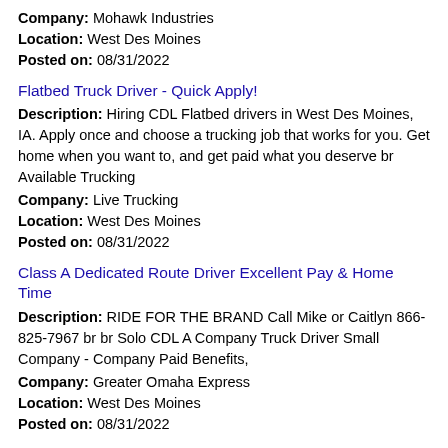Company: Mohawk Industries
Location: West Des Moines
Posted on: 08/31/2022
Flatbed Truck Driver - Quick Apply!
Description: Hiring CDL Flatbed drivers in West Des Moines, IA. Apply once and choose a trucking job that works for you. Get home when you want to, and get paid what you deserve br Available Trucking
Company: Live Trucking
Location: West Des Moines
Posted on: 08/31/2022
Class A Dedicated Route Driver Excellent Pay & Home Time
Description: RIDE FOR THE BRAND Call Mike or Caitlyn 866-825-7967 br br Solo CDL A Company Truck Driver Small Company - Company Paid Benefits,
Company: Greater Omaha Express
Location: West Des Moines
Posted on: 08/31/2022
Salary in Des Moines, Iowa Area | More details for Des Moines, Iowa Jobs |Salary: